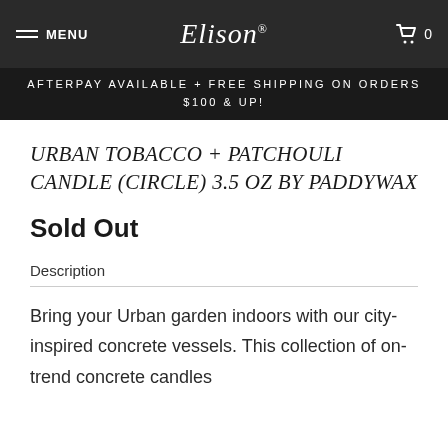MENU  Elison®  0
AFTERPAY AVAILABLE + FREE SHIPPING ON ORDERS $100 & UP!
URBAN TOBACCO + PATCHOULI CANDLE (CIRCLE) 3.5 OZ BY PADDYWAX
Sold Out
Description
Bring your Urban garden indoors with our city-inspired concrete vessels. This collection of on-trend concrete candles